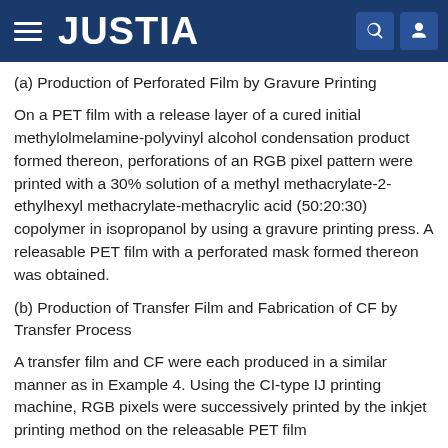JUSTIA
(a) Production of Perforated Film by Gravure Printing
On a PET film with a release layer of a cured initial methylolmelamine-polyvinyl alcohol condensation product formed thereon, perforations of an RGB pixel pattern were printed with a 30% solution of a methyl methacrylate-2-ethylhexyl methacrylate-methacrylic acid (50:20:30) copolymer in isopropanol by using a gravure printing press. A releasable PET film with a perforated mask formed thereon was obtained.
(b) Production of Transfer Film and Fabrication of CF by Transfer Process
A transfer film and CF were each produced in a similar manner as in Example 4. Using the CI-type IJ printing machine, RGB pixels were successively printed by the inkjet printing method on the releasable PET film